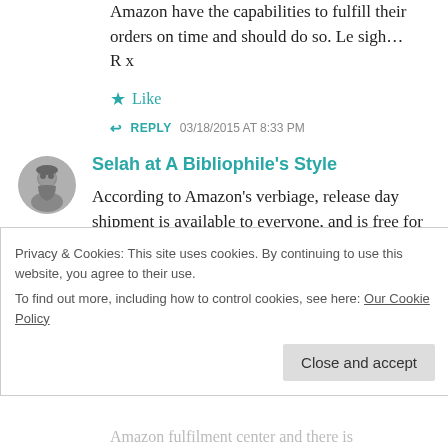Amazon have the capabilities to fulfill their orders on time and should do so. Le sigh… R x
Like
REPLY  03/18/2015 AT 8:33 PM
Selah at A Bibliophile's Style
According to Amazon's verbiage, release day shipment is available to everyone, and is free for Prime members (because we
Privacy & Cookies: This site uses cookies. By continuing to use this website, you agree to their use.
To find out more, including how to control cookies, see here: Our Cookie Policy
Close and accept
Amazon fulfilment center and there is